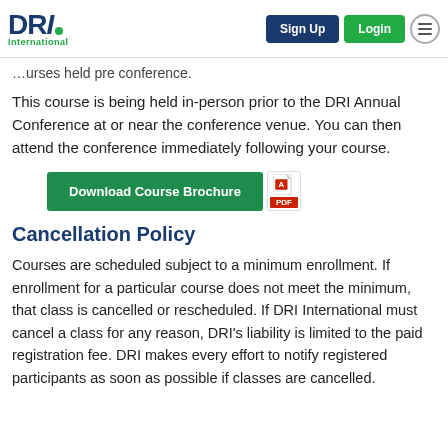DRI International | Sign Up | Login
…urses held pre conference.
This course is being held in-person prior to the DRI Annual Conference at or near the conference venue. You can then attend the conference immediately following your course.
[Figure (other): Download Course Brochure button with PDF icon]
Cancellation Policy
Courses are scheduled subject to a minimum enrollment. If enrollment for a particular course does not meet the minimum, that class is cancelled or rescheduled. If DRI International must cancel a class for any reason, DRI's liability is limited to the paid registration fee. DRI makes every effort to notify registered participants as soon as possible if classes are cancelled.